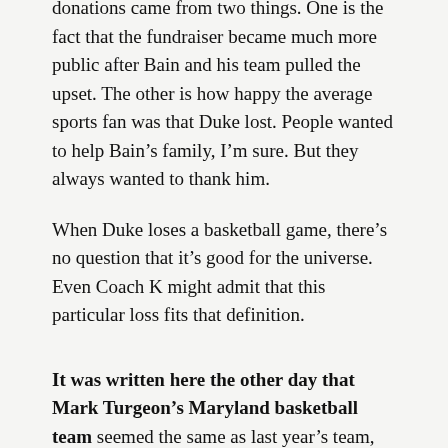donations came from two things. One is the fact that the fundraiser became much more public after Bain and his team pulled the upset. The other is how happy the average sports fan was that Duke lost. People wanted to help Bain's family, I'm sure. But they always wanted to thank him.
When Duke loses a basketball game, there's no question that it's good for the universe. Even Coach K might admit that this particular loss fits that definition.
It was written here the other day that Mark Turgeon's Maryland basketball team seemed the same as last year's team, only without the best player from that team, Bruno Fernando, now a member of the Atlanta Hawks.
I'd humbly disagree with that assessment, and not because of the Terps' title at this past weekend's Orlando Invitational, or any particular game in the team's 8-0 start